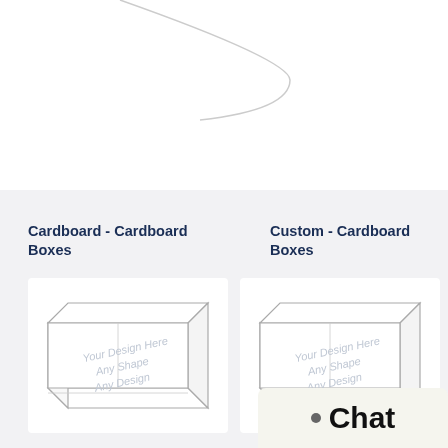[Figure (illustration): Partial arc/circle outline at top of page on white background]
Cardboard - Cardboard Boxes
[Figure (illustration): Line drawing of a cardboard box with text 'Your Design Here Any Shape Any Design' on the front face]
Custom - Cardboard Boxes
[Figure (illustration): Line drawing of a cardboard box with text 'Your Design Here Any Shape Any Design' on the front face]
Chat